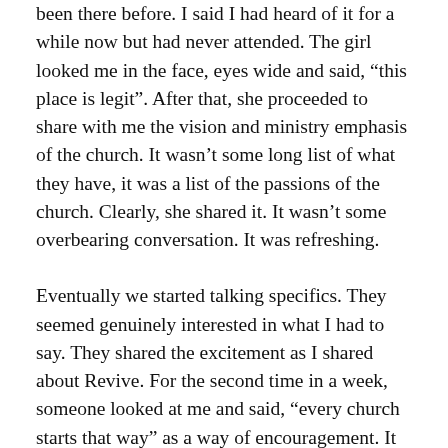been there before. I said I had heard of it for a while now but had never attended. The girl looked me in the face, eyes wide and said, “this place is legit”. After that, she proceeded to share with me the vision and ministry emphasis of the church. It wasn’t some long list of what they have, it was a list of the passions of the church. Clearly, she shared it. It wasn’t some overbearing conversation. It was refreshing.
Eventually we started talking specifics. They seemed genuinely interested in what I had to say. They shared the excitement as I shared about Revive. For the second time in a week, someone looked at me and said, “every church starts that way” as a way of encouragement. It was a brief but encouraging conversation.
This was not a church staff member. This was a